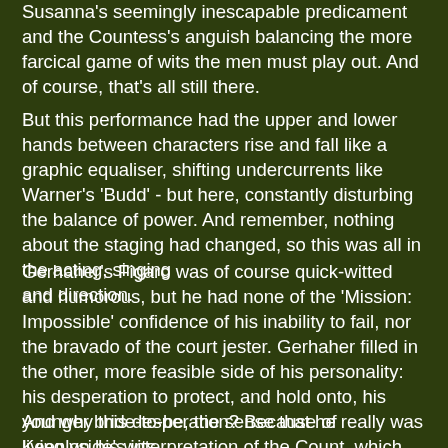Susanna's seemingly inescapable predicament and the Countess's anguish balancing the more farcical game of wits the men must play out. And of course, that's all still there.
But this performance had the upper and lower hands between characters rise and fall like a graphic equaliser, shifting undercurrents like Warner's 'Budd' - but here, constantly disturbing the balance of power. And remember, nothing about the staging had changed, so this was all in the acting, singing and direction.
Gerhaher's Figaro was of course quick-witted and humorous, but he had none of the 'Mission: Impossible' confidence of his inability to fail, nor the bravado of the court jester. Gerhaher filled in the other, more feasible side of his personality: his desperation to protect, and hold onto, his younger bride-to-be, the sense that he really was living on his wits.
And why this desperation? Because of Keenlyside's interpretation of the Count, which must be one of the finest